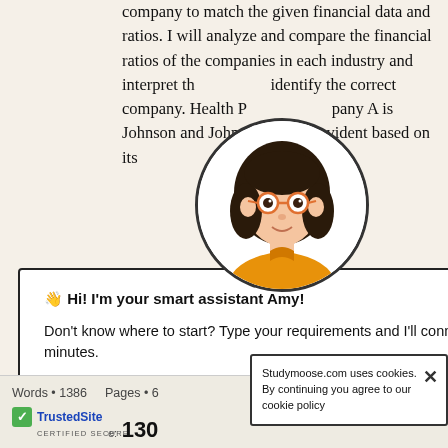company to match the given financial data and ratios. I will analyze and compare the financial ratios of the companies in each industry and interpret the results to identify the correct company. Health Products Company A is Johnson and Johnson as it is self-evident based on its financial profile... twice as strong... as a......
[Figure (illustration): Cartoon avatar of a woman with glasses and dark hair, wearing an orange top, shown in a white circle with border, overlapping a popup modal dialog]
👋 Hi! I'm your smart assistant Amy!
Don't know where to start? Type your requirements and I'll connect you to an academic expert within 3 minutes.
GET HELP WITH YOUR ASSIGNMENT
ignal
Analysis
Words • 1386    Pages •
[Figure (logo): TrustedSite Certified Secure badge with green checkmark]
130
Studymoose.com uses cookies. By continuing you agree to our cookie policy